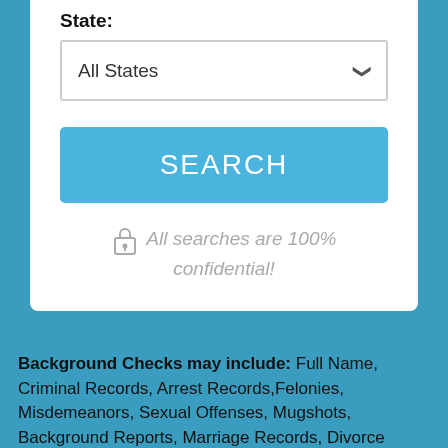State:
All States
SEARCH
All searches are 100% confidential!
Background Checks may include: Full Name, Criminal Records, Arrest Records, Felonies, Misdemeanors, Sexual Offenses, Mugshots, Background Reports, Marriage Records, Divorce Records, Death Records, Photos, Court Documents, Address Information, Phone